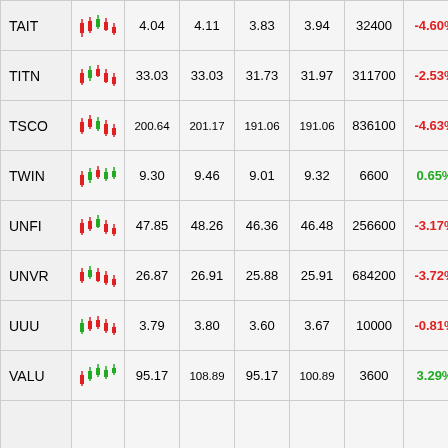| Ticker | Chart | Open | High | Low | Close | Volume | Change% |
| --- | --- | --- | --- | --- | --- | --- | --- |
| TAIT | [chart] | 4.04 | 4.11 | 3.83 | 3.94 | 32400 | -4.60% |
| TITN | [chart] | 33.03 | 33.03 | 31.73 | 31.97 | 311700 | -2.53% |
| TSCO | [chart] | 200.64 | 201.17 | 191.06 | 191.06 | 836100 | -4.63% |
| TWIN | [chart] | 9.30 | 9.46 | 9.01 | 9.32 | 6600 | 0.65% |
| UNFI | [chart] | 47.85 | 48.26 | 46.36 | 46.48 | 256600 | -3.17% |
| UNVR | [chart] | 26.87 | 26.91 | 25.88 | 25.91 | 684200 | -3.72% |
| UUU | [chart] | 3.79 | 3.80 | 3.60 | 3.67 | 10000 | -0.81% |
| VALU | [chart] | 95.17 | 108.89 | 95.17 | 100.89 | 3600 | 3.29% |
|  | [chart] |  |  |  |  |  |  |